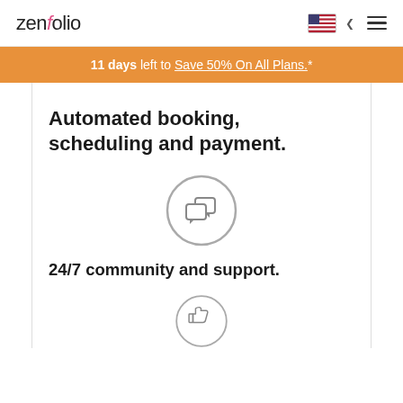zenfolio
11 days left to Save 50% On All Plans.*
Automated booking, scheduling and payment.
[Figure (illustration): Circle icon containing two speech/chat bubbles, representing community and support]
24/7 community and support.
[Figure (illustration): Circle icon partially visible at bottom, containing a thumbs-up icon]